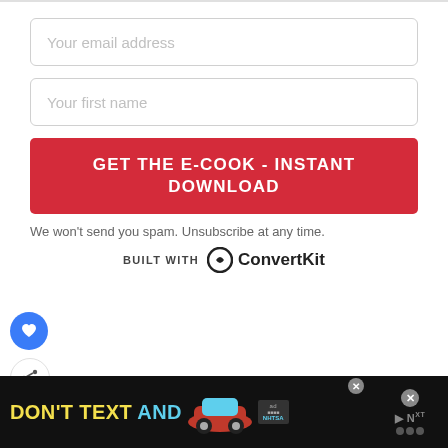Your email address
Your first name
GET THE E-COOK - INSTANT DOWNLOAD
We won't send you spam. Unsubscribe at any time.
BUILT WITH ConvertKit
[Figure (screenshot): Blue circular heart/like button on left side]
[Figure (screenshot): White circular share button on left side]
[Figure (screenshot): DON'T TEXT AND drive NHTSA advertisement banner at bottom]